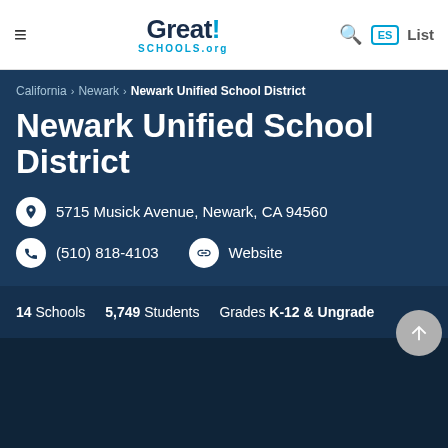GreatSCHOOLS.org
California › Newark › Newark Unified School District
Newark Unified School District
5715 Musick Avenue, Newark, CA 94560
(510) 818-4103
Website
14 Schools  5,749 Students  Grades K-12 & Ungraded